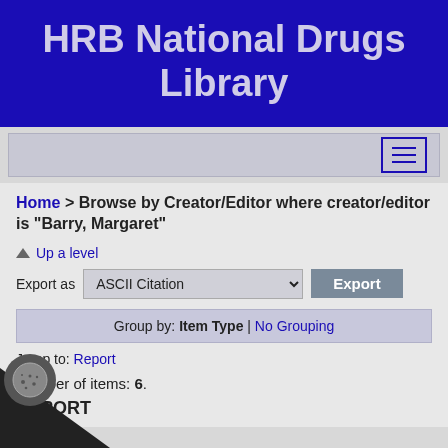HRB National Drugs Library
Home > Browse by Creator/Editor where creator/editor is "Barry, Margaret"
Up a level
Export as  ASCII Citation  Export
Group by: Item Type | No Grouping
Jump to: Report
Number of items: 6.
REPORT